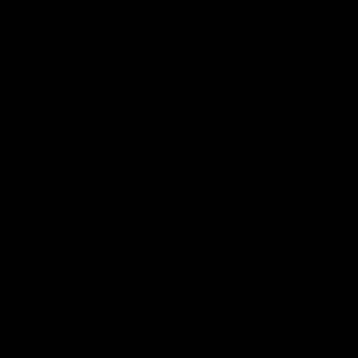[Figure (other): Completely black page with no visible content]